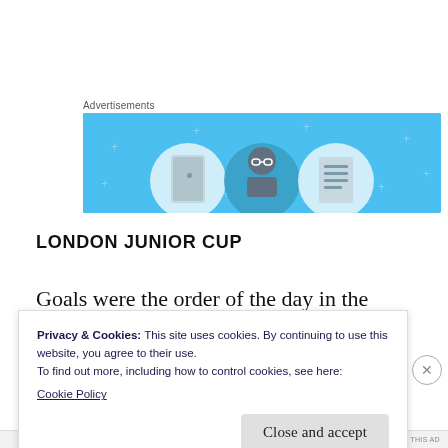Advertisements
[Figure (illustration): Advertisement banner with light blue background showing three circular icons: a door/entrance, a person with glasses, and a list/document, with decorative plus signs scattered throughout.]
LONDON JUNIOR CUP
Goals were the order of the day in the London Junior Cup where Jolof Sports' chase for county
Privacy & Cookies: This site uses cookies. By continuing to use this website, you agree to their use.
To find out more, including how to control cookies, see here:
Cookie Policy
Close and accept